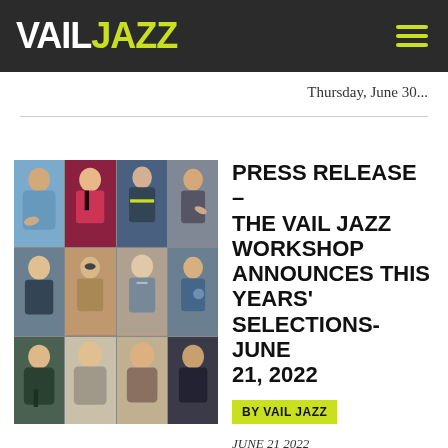VAIL JAZZ
Thursday, June 30...
[Figure (photo): Collage of 12 young jazz musicians in a 4x3 grid — trumpet player, bassist, saxophonist, trumpeter, and other instrumentalists]
PRESS RELEASE – THE VAIL JAZZ WORKSHOP ANNOUNCES THIS YEARS' SELECTIONS- JUNE 21, 2022
BY VAIL JAZZ
JUNE 21 2022